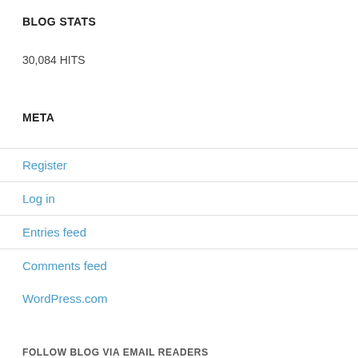BLOG STATS
30,084 HITS
META
Register
Log in
Entries feed
Comments feed
WordPress.com
FOLLOW BLOG VIA EMAIL READERS